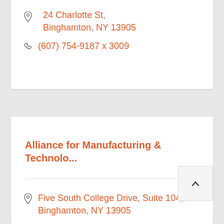24 Charlotte St, Binghamton, NY 13905
(607) 754-9187 x 3009
Alliance for Manufacturing & Technolo...
Five South College Drive, Suite 104, Binghamton, NY 13905
(607) 744-0022